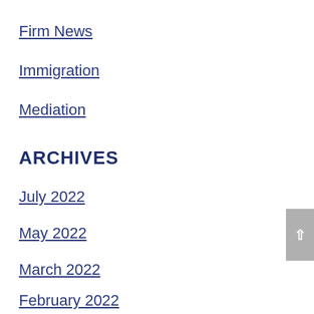Firm News
Immigration
Mediation
ARCHIVES
July 2022
May 2022
March 2022
February 2022
January 2022